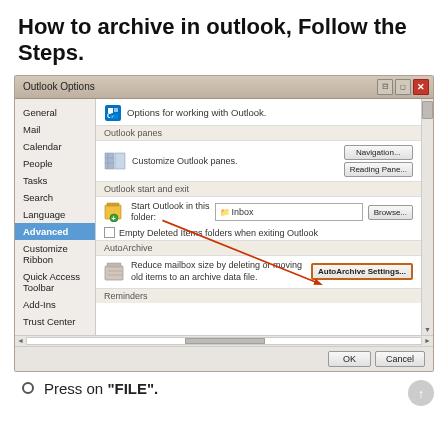How to archive in outlook, Follow the Steps.
[Figure (screenshot): Outlook Options dialog box showing the Advanced section selected in the left navigation panel. The right panel shows Outlook panes with Navigation and Reading Pane buttons, Outlook start and exit section with Start Outlook in this folder set to Inbox with a Browse button, a checkbox for Empty Deleted Items folders when exiting Outlook, and the AutoArchive section with AutoArchive Settings button highlighted with an orange border and a red arrow pointing to it. OK and Cancel buttons at the bottom. An arrow from the Advanced menu item points to the AutoArchive Settings button.]
Press on "FILE".